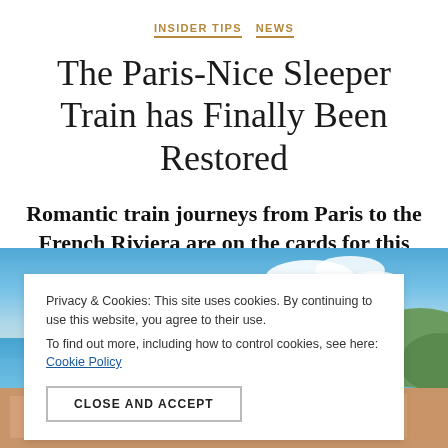INSIDER TIPS  NEWS
The Paris-Nice Sleeper Train has Finally Been Restored
Romantic train journeys from Paris to the French Riviera are on the cards for this summer…
[Figure (photo): Aerial photograph of Nice, France showing the French Riviera coastline with blue sea, buildings and hills]
Privacy & Cookies: This site uses cookies. By continuing to use this website, you agree to their use.
To find out more, including how to control cookies, see here: Cookie Policy

CLOSE AND ACCEPT